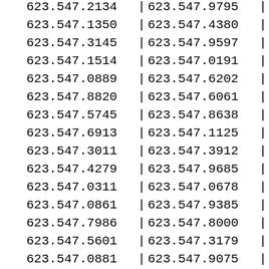| Col1 | Sep | Col2 | Sep2 |
| --- | --- | --- | --- |
| 623.547.2134 | | | 623.547.9795 | | |
| 623.547.1350 | | | 623.547.4380 | | |
| 623.547.3145 | | | 623.547.9597 | | |
| 623.547.1514 | | | 623.547.0191 | | |
| 623.547.0889 | | | 623.547.6202 | | |
| 623.547.8820 | | | 623.547.6061 | | |
| 623.547.5745 | | | 623.547.8638 | | |
| 623.547.6913 | | | 623.547.1125 | | |
| 623.547.3011 | | | 623.547.3912 | | |
| 623.547.4279 | | | 623.547.9685 | | |
| 623.547.0311 | | | 623.547.0678 | | |
| 623.547.0861 | | | 623.547.9385 | | |
| 623.547.7986 | | | 623.547.8000 | | |
| 623.547.5601 | | | 623.547.3179 | | |
| 623.547.0881 | | | 623.547.9075 | | |
| 623.547.8180 | | | 623.547.5787 | | |
| 623.547.4109 | | | 623.547.4731 | | |
| 623.547.3973 | | | 623.547.7454 | | |